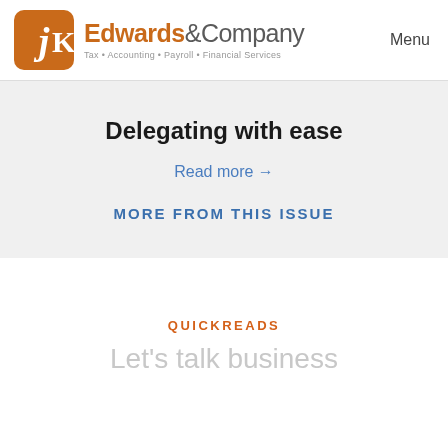JK Edwards & Company — Tax · Accounting · Payroll · Financial Services | Menu
Delegating with ease
Read more →
MORE FROM THIS ISSUE
QUICKREADS
Let's talk business